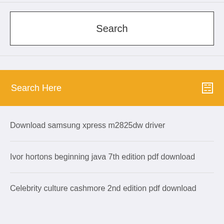Search
Search Here
Download samsung xpress m2825dw driver
Ivor hortons beginning java 7th edition pdf download
Celebrity culture cashmore 2nd edition pdf download